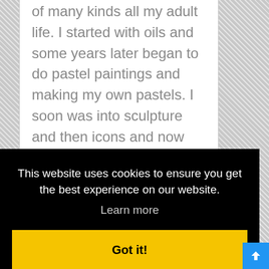of many kinds all my adult life. I started with oils and some years later began to do pastel paintings and making my own pastels. I soon was into sculpture and then icons and now my repertoire includes
This website uses cookies to ensure you get the best experience on our website.
Learn more
Got it!
[Figure (photo): Colorful artistic image with blue, red, and purple tones visible at the bottom of the page]